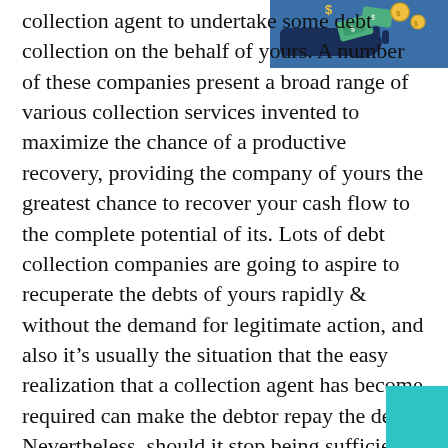[Figure (illustration): Illustration of a hand in a dark blue suit holding out money/cash bills, with coins and dollar signs floating above, on a blue background. Represents debt collection.]
collection agent to undertake some debt collection on the behalf of yours. A number of these companies present a broad range of various collection services invented to maximize the chance of a productive recovery, providing the company of yours the greatest chance to recover your cash flow to the complete potential of its. Lots of debt collection companies are going to aspire to recuperate the debts of yours rapidly & without the demand for legitimate action, and also it's usually the situation that the easy realization that a collection agent has become required can make the debtor repay the debt. Nevertheless, should it stop being sufficient by itself, debt collectors is professional and thorough in the attempts of theirs to recover the outstanding debts of yours.
[Figure (illustration): Teal/cyan decorative square box in the bottom-right corner of the page.]